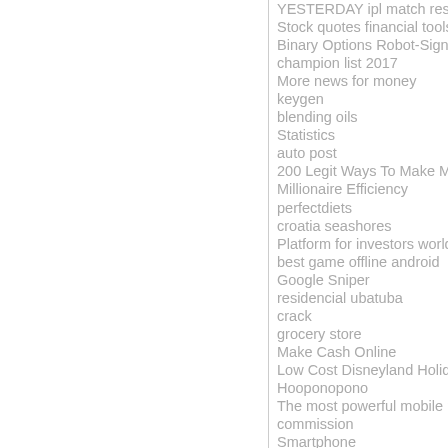YESTERDAY ipl match result
Stock quotes financial tools
Binary Options Robot-Signals
champion list 2017
More news for money
keygen
blending oils
Statistics
auto post
200 Legit Ways To Make Money O
Millionaire Efficiency
perfectdiets
croatia seashores
Platform for investors worldwide
best game offline android
Google Sniper
residencial ubatuba
crack
grocery store
Make Cash Online
Low Cost Disneyland Holidays
Hooponopono
The most powerful mobile marke
commission
Smartphone
Send money now
post for facebook
TODAY MATCH WHO WIN
Retirement Homes Hyderabad
make money online
mrtech enterprises
Dream India 250